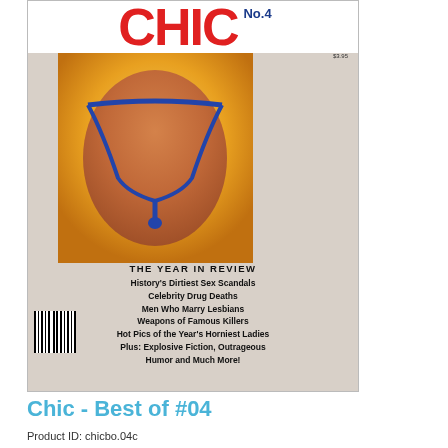[Figure (photo): Magazine cover of 'CHIC No. 4' showing cover photo and article headlines including 'THE YEAR IN REVIEW', 'History's Dirtiest Sex Scandals', 'Celebrity Drug Deaths', 'Men Who Marry Lesbians', 'Weapons of Famous Killers', 'Hot Pics of the Year's Horniest Ladies', 'Plus: Explosive Fiction, Outrageous Humor and Much More!']
Chic - Best of #04
Product ID: chicbo.04c